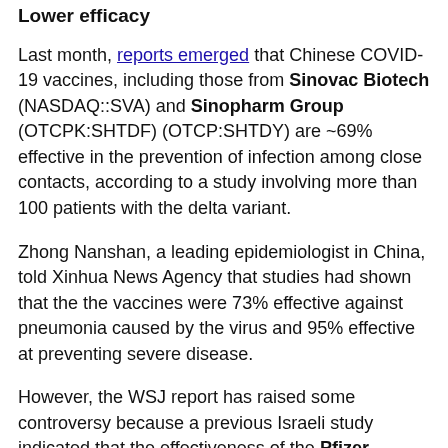Lower efficacy
Last month, reports emerged that Chinese COVID-19 vaccines, including those from Sinovac Biotech (NASDAQ::SVA) and Sinopharm Group (OTCPK:SHTDF) (OTCP:SHTDY) are ~69% effective in the prevention of infection among close contacts, according to a study involving more than 100 patients with the delta variant.
Zhong Nanshan, a leading epidemiologist in China, told Xinhua News Agency that studies had shown that the the vaccines were 73% effective against pneumonia caused by the virus and 95% effective at preventing severe disease.
However, the WSJ report has raised some controversy because a previous Israeli study indicated that the effectiveness of the Pfizer (NYSE:PFE)/ BioNTech (NASDAQ:BNTX) COVID-19 vaccine dropped to just 64% in preventing both infection and symptomatic disease with the spread of the Delta variant and relaxation of social restrictions. Experts say the effectiveness of Sinovac and